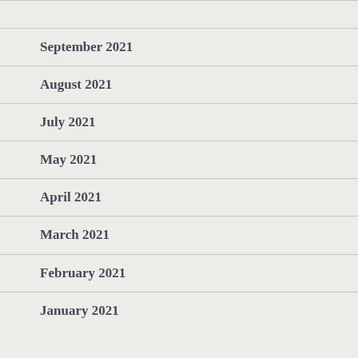September 2021
August 2021
July 2021
May 2021
April 2021
March 2021
February 2021
January 2021